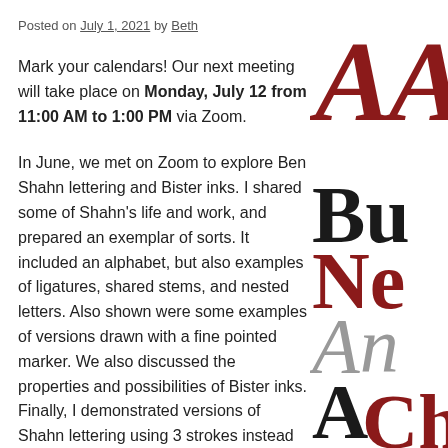Posted on July 1, 2021 by Beth
Mark your calendars! Our next meeting will take place on Monday, July 12 from 11:00 AM to 1:00 PM via Zoom.
In June, we met on Zoom to explore Ben Shahn lettering and Bister inks. I shared some of Shahn’s life and work, and prepared an exemplar of sorts. It included an alphabet, but also examples of ligatures, shared stems, and nested letters. Also shown were some examples of versions drawn with a fine pointed marker. We also discussed the properties and possibilities of Bister inks. Finally, I demonstrated versions of Shahn lettering using 3 strokes instead of two, and at about 1 inch high with a 3mm nib.
[Figure (illustration): Decorative calligraphic lettering on the right side showing large stylized letters in dark red/maroon and black, partially cropped, showing letters AA, BU, NES, AN, A, CH in Ben Shahn style lettering]